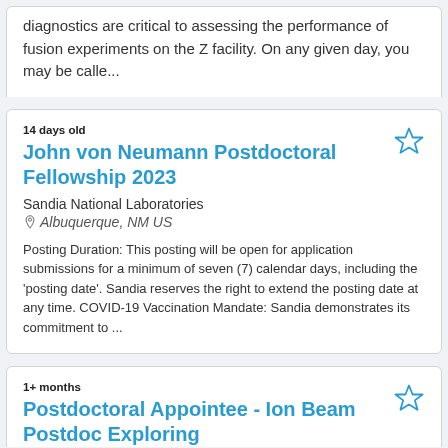diagnostics are critical to assessing the performance of fusion experiments on the Z facility. On any given day, you may be calle...
14 days old
John von Neumann Postdoctoral Fellowship 2023
Sandia National Laboratories
Albuquerque, NM US
Posting Duration: This posting will be open for application submissions for a minimum of seven (7) calendar days, including the 'posting date'. Sandia reserves the right to extend the posting date at any time. COVID-19 Vaccination Mandate: Sandia demonstrates its commitment to ...
1+ months
Postdoctoral Appointee - Ion Beam Postdoc Exploring